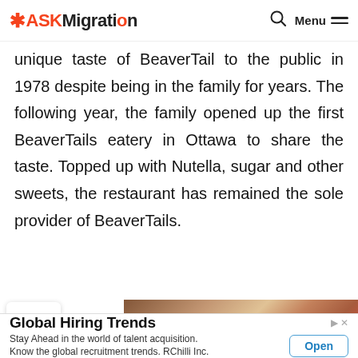ASKMigration | Menu
unique taste of BeaverTail to the public in 1978 despite being in the family for years. The following year, the family opened up the first BeaverTails eatery in Ottawa to share the taste. Topped up with Nutella, sugar and other sweets, the restaurant has remained the sole provider of BeaverTails.
[Figure (photo): Photo of BeaverTails pastries topped with chocolate and other toppings, partially visible at the bottom of the page.]
Global Hiring Trends
Stay Ahead in the world of talent acquisition. Know the global recruitment trends. RChilli Inc.